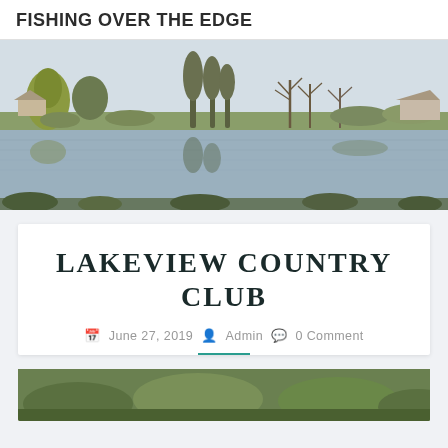FISHING OVER THE EDGE
[Figure (photo): Wide panoramic photo of a calm lake reflecting bare winter trees and green trees on the far bank, with houses visible through the trees under a pale grey sky.]
LAKEVIEW COUNTRY CLUB
June 27, 2019  Admin  0 Comment
[Figure (photo): Partial bottom strip showing a garden or outdoor scene with green foliage.]